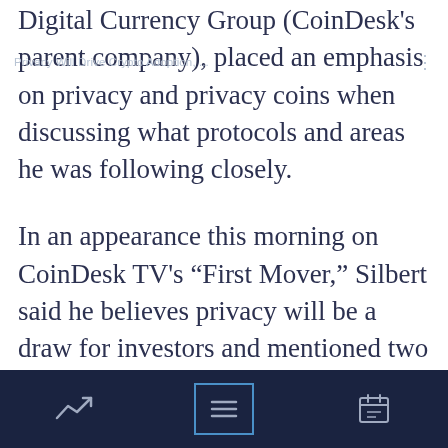Privacy Will Drive Crypto Adoption, ...
Digital Currency Group (CoinDesk's parent company), placed an emphasis on privacy and privacy coins when discussing what protocols and areas he was following closely.
In an appearance this morning on CoinDesk TV's “First Mover,” Silbert said he believes privacy will be a draw for investors and mentioned two privacy coins he’s particularly excited about and focused on: zcash and Horizen’s zen.
“Thematically, I think privacy is—and is